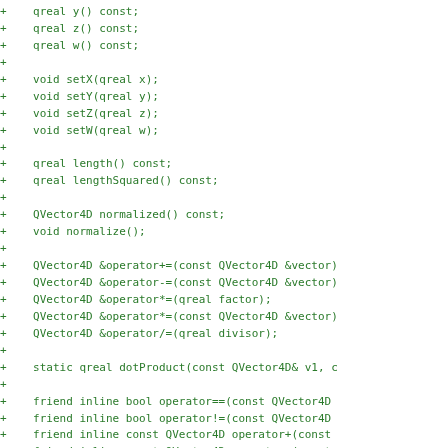+ qreal y() const;
+ qreal z() const;
+ qreal w() const;
+
+ void setX(qreal x);
+ void setY(qreal y);
+ void setZ(qreal z);
+ void setW(qreal w);
+
+ qreal length() const;
+ qreal lengthSquared() const;
+
+ QVector4D normalized() const;
+ void normalize();
+
+ QVector4D &operator+=(const QVector4D &vector)
+ QVector4D &operator-=(const QVector4D &vector)
+ QVector4D &operator*=(qreal factor);
+ QVector4D &operator*=(const QVector4D &vector)
+ QVector4D &operator/=(qreal divisor);
+
+ static qreal dotProduct(const QVector4D& v1, c
+
+ friend inline bool operator==(const QVector4D
+ friend inline bool operator!=(const QVector4D
+ friend inline const QVector4D operator+(const
+ friend inline const QVector4D operator-(const
+ friend inline const QVector4D operator*(qreal
+ friend inline const QVector4D operator*(const
+ friend inline const QVector4D operator*(const